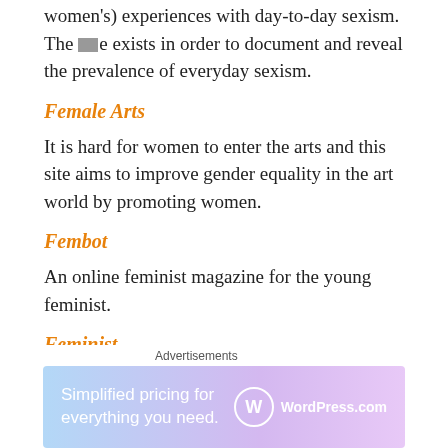women's) experiences with day-to-day sexism. The site exists in order to document and reveal the prevalence of everyday sexism.
Female Arts
It is hard for women to enter the arts and this site aims to improve gender equality in the art world by promoting women.
Fembot
An online feminist magazine for the young feminist.
Feminist
A feminist community referred to as a “feminist google,” Feminist is dedicated towards providing feminist resources and information. encourages
[Figure (infographic): Advertisement banner: 'Advertisements' label above a gradient purple-blue banner reading 'Simplified pricing for everything you need.' with WordPress.com logo on the right. A close/X button is on the far right.]